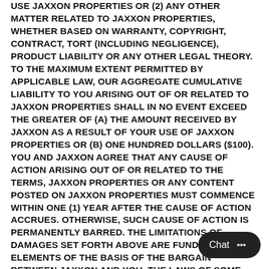USE JAXXON PROPERTIES OR (2) ANY OTHER MATTER RELATED TO JAXXON PROPERTIES, WHETHER BASED ON WARRANTY, COPYRIGHT, CONTRACT, TORT (INCLUDING NEGLIGENCE), PRODUCT LIABILITY OR ANY OTHER LEGAL THEORY. TO THE MAXIMUM EXTENT PERMITTED BY APPLICABLE LAW, OUR AGGREGATE CUMULATIVE LIABILITY TO YOU ARISING OUT OF OR RELATED TO JAXXON PROPERTIES SHALL IN NO EVENT EXCEED THE GREATER OF (A) THE AMOUNT RECEIVED BY JAXXON AS A RESULT OF YOUR USE OF JAXXON PROPERTIES OR (B) ONE HUNDRED DOLLARS ($100). YOU AND JAXXON AGREE THAT ANY CAUSE OF ACTION ARISING OUT OF OR RELATED TO THE TERMS, JAXXON PROPERTIES OR ANY CONTENT POSTED ON JAXXON PROPERTIES MUST COMMENCE WITHIN ONE (1) YEAR AFTER THE CAUSE OF ACTION ACCRUES. OTHERWISE, SUCH CAUSE OF ACTION IS PERMANENTLY BARRED. THE LIMITATIONS OF DAMAGES SET FORTH ABOVE ARE FUNDAMENTAL ELEMENTS OF THE BASIS OF THE BARGAIN BETWEEN JAXXON AND YOU. THE LAWS OF SOME